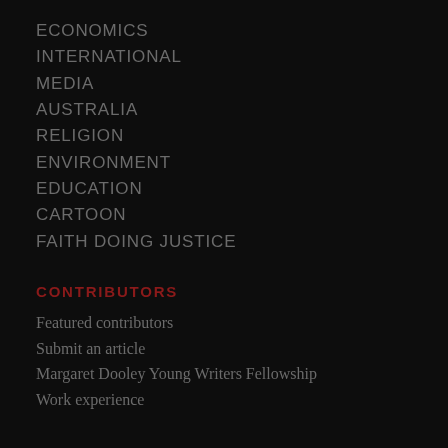ECONOMICS
INTERNATIONAL
MEDIA
AUSTRALIA
RELIGION
ENVIRONMENT
EDUCATION
CARTOON
FAITH DOING JUSTICE
CONTRIBUTORS
Featured contributors
Submit an article
Margaret Dooley Young Writers Fellowship
Work experience